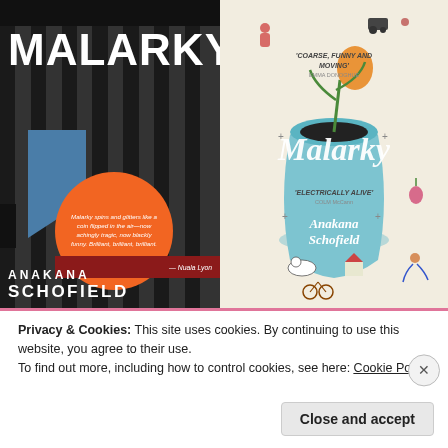[Figure (illustration): Two book covers of 'Malarky' by Anakana Schofield. Left cover: dark striped background, blue geometric shape, large white title 'MALARKY', orange circle with review quote, red band with attribution '— Nuala Lyons', author name 'ANAKANA SCHOFIELD'. Right cover: cream/illustrated style with whimsical drawings of farm life, a large blue vase, script title 'Malarky', quotes 'COARSE, FUNNY AND MOVING' and 'ELECTRICALLY ALIVE', author name 'Anakana Schofield'.]
Privacy & Cookies: This site uses cookies. By continuing to use this website, you agree to their use.
To find out more, including how to control cookies, see here: Cookie Policy
Close and accept